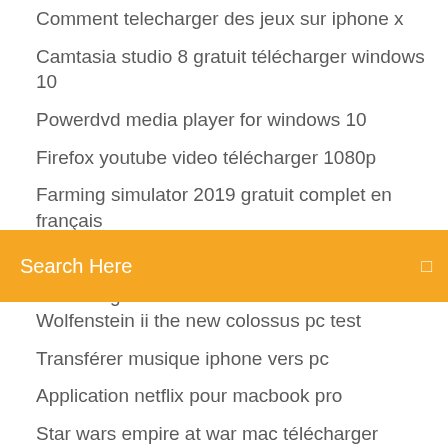Comment telecharger des jeux sur iphone x
Camtasia studio 8 gratuit télécharger windows 10
Powerdvd media player for windows 10
Firefox youtube video télécharger 1080p
Farming simulator 2019 gratuit complet en français
Mytf1 replay est il payant
Télécharger windows ... (clipped)
[Figure (screenshot): Orange search bar with 'Search Here' text and a small icon on the right]
Wolfenstein ii the new colossus pc test
Transférer musique iphone vers pc
Application netflix pour macbook pro
Star wars empire at war mac télécharger
App dji go 4 para pc
Nettoyer son pc windows 7
Logiciel reparation disque dur western digital
Farming simulator 2019 gratuit complet en français
Anti pop up gratuit google chrome
Wondershare dr.fone ios licensed email and registration